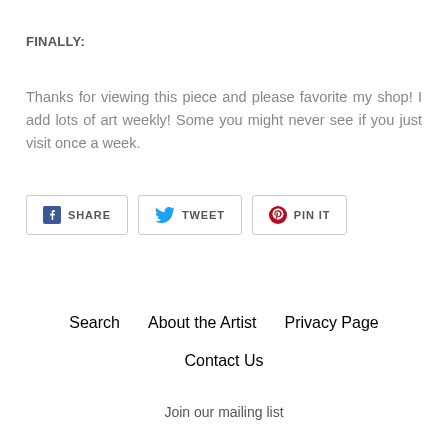FINALLY:
Thanks for viewing this piece and please favorite my shop! I add lots of art weekly! Some you might never see if you just visit once a week.
[Figure (other): Social sharing buttons: SHARE (Facebook), TWEET (Twitter), PIN IT (Pinterest)]
Search   About the Artist   Privacy Page   Contact Us   Join our mailing list